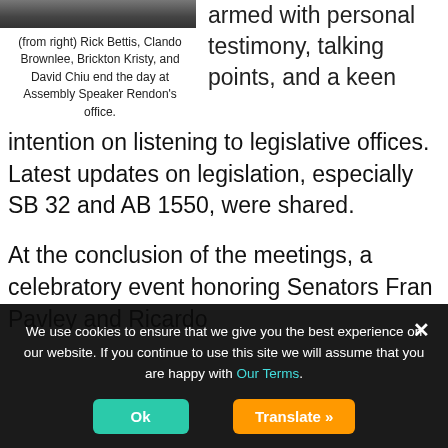[Figure (photo): Partial photo of people at Assembly Speaker Rendon's office, cropped at top]
(from right) Rick Bettis, Clando Brownlee, Brickton Kristy, and David Chiu end the day at Assembly Speaker Rendon's office.
armed with personal testimony, talking points, and a keen intention on listening to legislative offices. Latest updates on legislation, especially SB 32 and AB 1550, were shared.
At the conclusion of the meetings, a celebratory event honoring Senators Fran Pavley and Ricardo
We use cookies to ensure that we give you the best experience on our website. If you continue to use this site we will assume that you are happy with Our Terms.